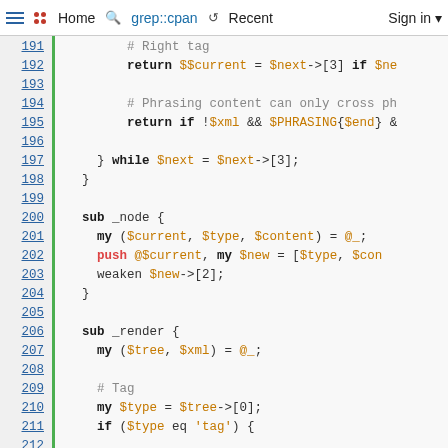≡ •• Home  🔍 grep::cpan  ↺ Recent  Sign in ▾
[Figure (screenshot): Code viewer showing Perl source lines 191-217 with syntax highlighting. Green vertical bar separates line numbers from code. Keywords in bold, variables in orange, comments in gray, push in pink.]